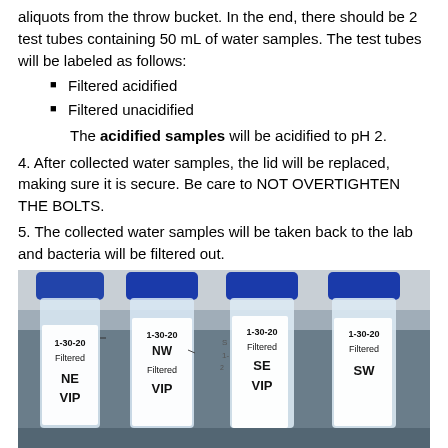aliquots from the throw bucket. In the end, there should be 2 test tubes containing 50 mL of water samples. The test tubes will be labeled as follows:
Filtered acidified
Filtered unacidified
The acidified samples will be acidified to pH 2.
4. After collected water samples, the lid will be replaced, making sure it is secure. Be care to NOT OVERTIGHTEN THE BOLTS.
5. The collected water samples will be taken back to the lab and bacteria will be filtered out.
[Figure (photo): Four labeled plastic test tubes with blue caps standing upright. Labels read: '1-30-20 Filtered NE VIP', '1-30-20 NW Filtered VIP', '1-30-20 Filtered SE VIP', '1-30-20 Filtered SW']